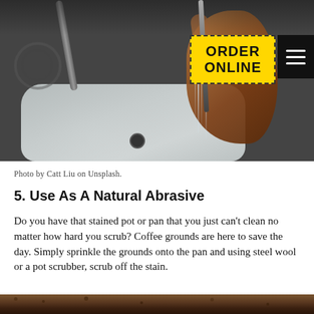[Figure (photo): A hand holding a fork under running water in a white sink, dark moody kitchen background. Yellow 'ORDER ONLINE' button with dashed border and hamburger menu in top right.]
Photo by Catt Liu on Unsplash.
5. Use As A Natural Abrasive
Do you have that stained pot or pan that you just can't clean no matter how hard you scrub? Coffee grounds are here to save the day. Simply sprinkle the grounds onto the pan and using steel wool or a pot scrubber, scrub off the stain.
[Figure (photo): Close-up of dark brown coffee grounds at the bottom of the page.]